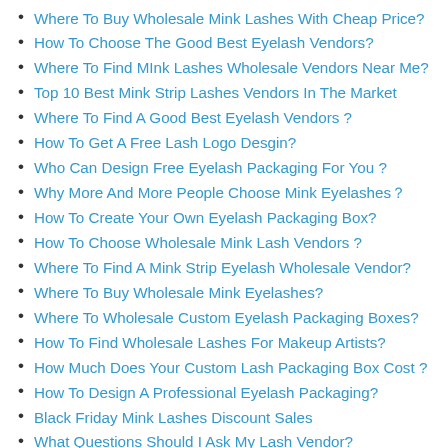Where To Buy Wholesale Mink Lashes With Cheap Price?
How To Choose The Good Best Eyelash Vendors?
Where To Find MInk Lashes Wholesale Vendors Near Me?
Top 10 Best Mink Strip Lashes Vendors In The Market
Where To Find A Good Best Eyelash Vendors ?
How To Get A Free Lash Logo Desgin?
Who Can Design Free Eyelash Packaging For You ?
Why More And More People Choose Mink Eyelashes？
How To Create Your Own Eyelash Packaging Box?
How To Choose Wholesale Mink Lash Vendors ?
Where To Find A Mink Strip Eyelash Wholesale Vendor?
Where To Buy Wholesale Mink Eyelashes?
Where To Wholesale Custom Eyelash Packaging Boxes?
How To Find Wholesale Lashes For Makeup Artists?
How Much Does Your Custom Lash Packaging Box Cost ?
How To Design A Professional Eyelash Packaging?
Black Friday Mink Lashes Discount Sales
What Questions Should I Ask My Lash Vendor?